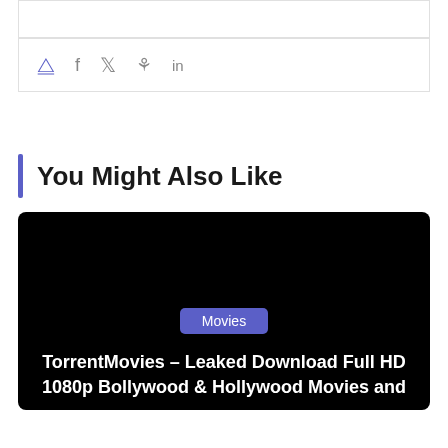[Figure (screenshot): Social share bar with share, Facebook, Twitter, Pinterest, and LinkedIn icons]
You Might Also Like
[Figure (screenshot): Dark card with Movies badge and title: TorrentMovies – Leaked Download Full HD 1080p Bollywood & Hollywood Movies and]